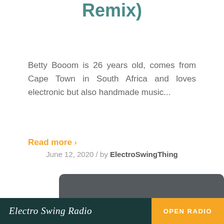Remix)
Betty Booom is 26 years old, comes from Cape Town in South Africa and loves electronic but also handmade music...
Read more >
June 12, 2020 / by ElectroSwingThing
[Figure (illustration): Album art card with dark grey background showing 'Wellerman' in large cyan neon-style script, and subtitle 'BETTY BOOOM REMIX' in small caps below]
Electro Swing Radio   OPEN RADIO